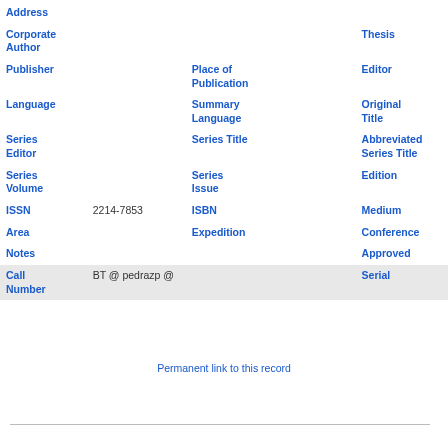| Address |  |  |  |  |  |
| Corporate Author |  |  |  | Thesis |  |
| Publisher |  | Place of Publication |  | Editor |  |
| Language |  | Summary Language |  | Original Title |  |
| Series Editor |  | Series Title |  | Abbreviated Series Title |  |
| Series Volume |  | Series Issue |  | Edition |  |
| ISSN | 2214-7853 | ISBN |  | Medium |  |
| Area |  | Expedition |  | Conference |  |
| Notes |  |  |  | Approved |  |
| Call Number | BT @ pedrazp @ |  |  | Serial |  |
Permanent link to this record